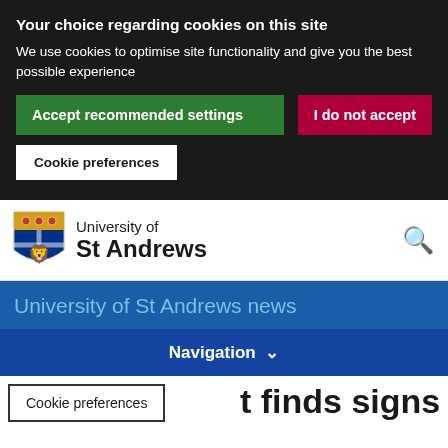Your choice regarding cookies on this site
We use cookies to optimise site functionality and give you the best possible experience
Accept recommended settings
I do not accept
Cookie preferences
[Figure (logo): University of St Andrews shield logo]
University of St Andrews
University of St Andrews news
Navigation
Cookie preferences
t finds signs of